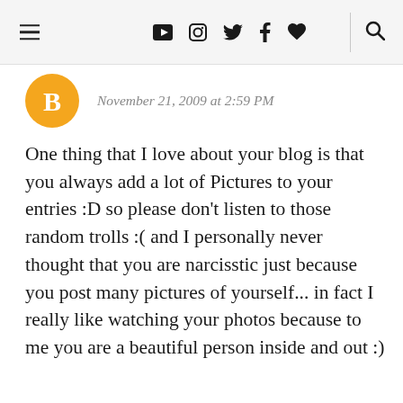≡  ▶  📷  🐦  f  ♥  🔍
[Figure (logo): Orange circular Blogger avatar icon with white B letter]
November 21, 2009 at 2:59 PM
One thing that I love about your blog is that you always add a lot of Pictures to your entries :D so please don't listen to those random trolls :( and I personally never thought that you are narcisstic just because you post many pictures of yourself... in fact I really like watching your photos because to me you are a beautiful person inside and out :)